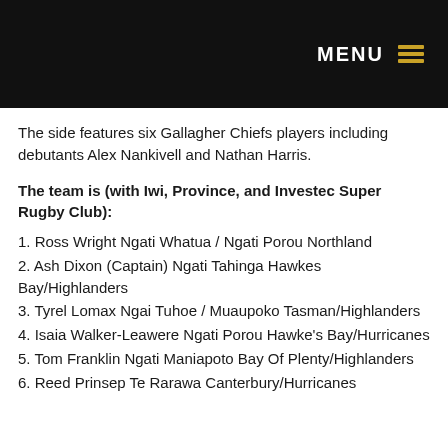MENU ☰
The side features six Gallagher Chiefs players including debutants Alex Nankivell and Nathan Harris.
The team is (with Iwi, Province, and Investec Super Rugby Club):
1. Ross Wright Ngati Whatua / Ngati Porou Northland
2. Ash Dixon (Captain) Ngati Tahinga Hawkes Bay/Highlanders
3. Tyrel Lomax Ngai Tuhoe / Muaupoko Tasman/Highlanders
4. Isaia Walker-Leawere Ngati Porou Hawke's Bay/Hurricanes
5. Tom Franklin Ngati Maniapoto Bay Of Plenty/Highlanders
6. Reed Prinsep Te Rarawa Canterbury/Hurricanes